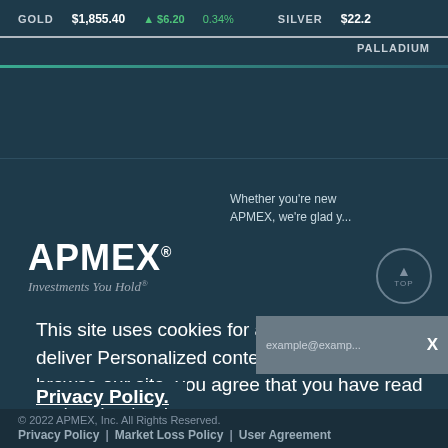GOLD $1,855.40 ▲ $6.20 0.34% SILVER $22.2 PALLADIUM
[Figure (logo): APMEX logo with tagline 'Investments You Hold']
Whether you're new to APMEX, we're glad y...
This site uses cookies for analytics and to deliver Personalized content. By continuing to browse our site, you agree that you have read and understand our
Privacy Policy.
© 2022 APMEX, Inc. All Rights Reserved. Privacy Policy | Market Loss Policy | User Agreement